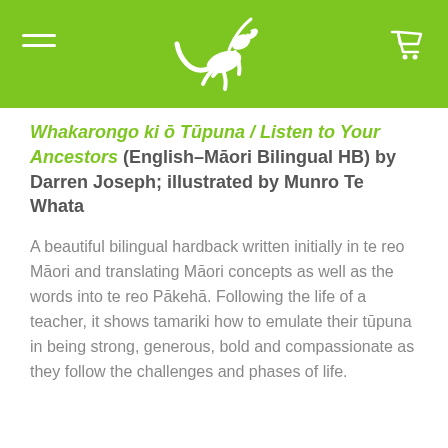[Figure (logo): Green header bar with white gecko/lizard logo in center, hamburger menu icon on left, shopping cart icon on right]
Whakarongo ki ō Tūpuna / Listen to Your Ancestors (English–Māori Bilingual HB) by Darren Joseph; illustrated by Munro Te Whata
A beautiful bilingual hardback written initially in te reo Māori and translating Māori concepts as well as the words into te reo Pākehā. Following the life of a teacher, it shows tamariki how to emulate their tūpuna in being strong, generous, bold and compassionate as they follow the challenges and phases of life.